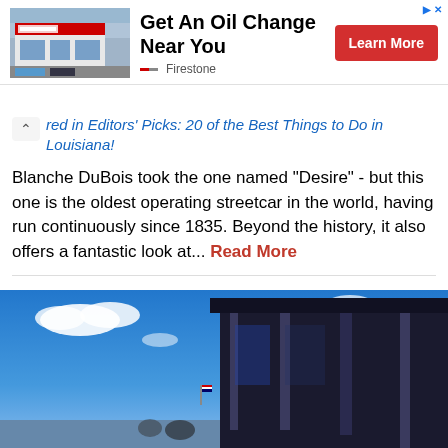[Figure (photo): Firestone auto service store exterior]
Get An Oil Change Near You
Learn More
Firestone
red in Editors' Picks: 20 of the Best Things to Do in Louisiana!
Blanche DuBois took the one named "Desire" - but this one is the oldest operating streetcar in the world, having run continuously since 1835. Beyond the history, it also offers a fantastic look at... Read More
[Figure (photo): Exterior of a dark-colored streetcar or vehicle under a blue sky with white clouds]